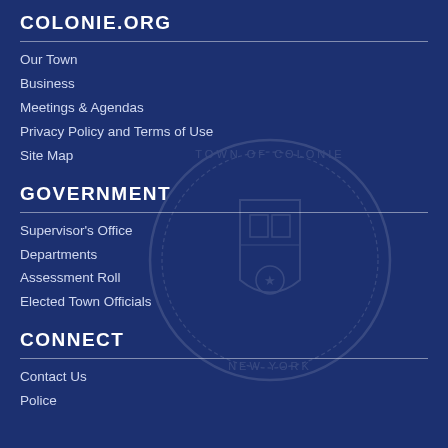COLONIE.ORG
Our Town
Business
Meetings & Agendas
Privacy Policy and Terms of Use
Site Map
GOVERNMENT
Supervisor's Office
Departments
Assessment Roll
Elected Town Officials
CONNECT
Contact Us
Police